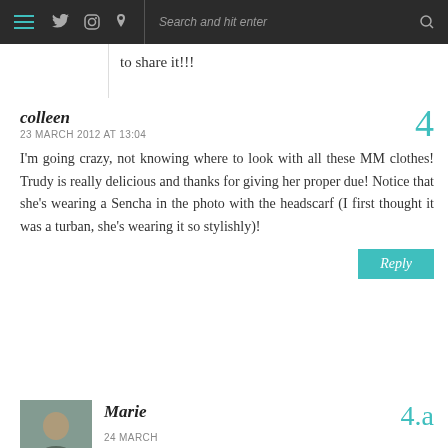Navigation bar with hamburger menu, social icons (Twitter, Instagram, Pinterest), search bar
to share it!!!
colleen
23 MARCH 2012 AT 13:04
I'm going crazy, not knowing where to look with all these MM clothes! Trudy is really delicious and thanks for giving her proper due! Notice that she's wearing a Sencha in the photo with the headscarf (I first thought it was a turban, she's wearing it so stylishly)!
Reply
[Figure (photo): Avatar photo of commenter Marie - woman with short dark hair]
Marie
24 MARCH